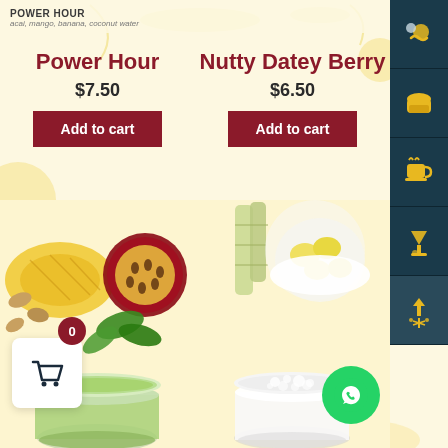POWER HOUR
acai, mango, banana, coconut water
Power Hour
$7.50
Add to cart
Nutty Datey Berry
$6.50
Add to cart
[Figure (photo): Green smoothie with pineapple and passion fruit ingredients]
[Figure (photo): White smoothie with banana and coconut ingredients]